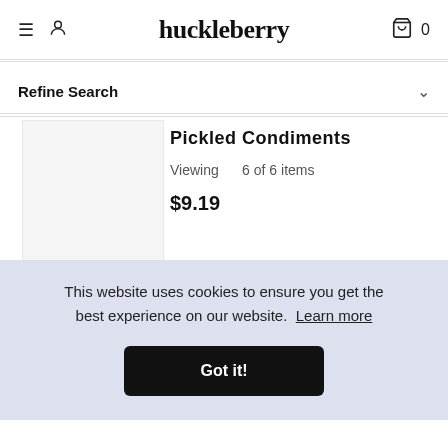huckleberry
Refine Search
Pickled Condiments
Viewing 6 of 6 items
$9.19
add to bag
certified organic
This website uses cookies to ensure you get the best experience on our website. Learn more
Got it!